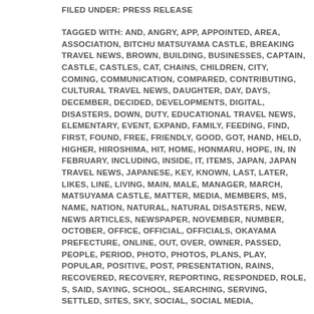FILED UNDER: PRESS RELEASE
TAGGED WITH: AND, ANGRY, APP, APPOINTED, AREA, ASSOCIATION, BITCHU MATSUYAMA CASTLE, BREAKING TRAVEL NEWS, BROWN, BUILDING, BUSINESSES, CAPTAIN, CASTLE, CASTLES, CAT, CHAINS, CHILDREN, CITY, COMING, COMMUNICATION, COMPARED, CONTRIBUTING, CULTURAL TRAVEL NEWS, DAUGHTER, DAY, DAYS, DECEMBER, DECIDED, DEVELOPMENTS, DIGITAL, DISASTERS, DOWN, DUTY, EDUCATIONAL TRAVEL NEWS, ELEMENTARY, EVENT, EXPAND, FAMILY, FEEDING, FIND, FIRST, FOUND, FREE, FRIENDLY, GOOD, GOT, HAND, HELD, HIGHER, HIROSHIMA, HIT, HOME, HONMARU, HOPE, IN, IN FEBRUARY, INCLUDING, INSIDE, IT, ITEMS, JAPAN, JAPAN TRAVEL NEWS, JAPANESE, KEY, KNOWN, LAST, LATER, LIKES, LINE, LIVING, MAIN, MALE, MANAGER, MARCH, MATSUYAMA CASTLE, MATTER, MEDIA, MEMBERS, MS, NAME, NATION, NATURAL, NATURAL DISASTERS, NEW, NEWS ARTICLES, NEWSPAPER, NOVEMBER, NUMBER, OCTOBER, OFFICE, OFFICIAL, OFFICIALS, OKAYAMA PREFECTURE, ONLINE, OUT, OVER, OWNER, PASSED, PEOPLE, PERIOD, PHOTO, PHOTOS, PLANS, PLAY, POPULAR, POSITIVE, POST, PRESENTATION, RAINS, RECOVERED, RECOVERY, REPORTING, RESPONDED, ROLE, S, SAID, SAYING, SCHOOL, SEARCHING, SERVING, SETTLED, SITES, SKY, SOCIAL, SOCIAL MEDIA,